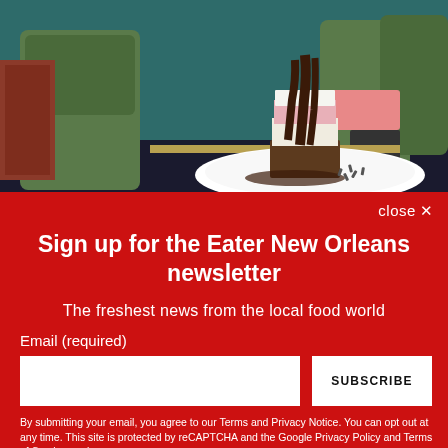[Figure (photo): A layered ice cream or mousse dessert on a white plate with chocolate sauce being poured over it, in an upscale restaurant setting with green velvet chairs in the background.]
close ✕
Sign up for the Eater New Orleans newsletter
The freshest news from the local food world
Email (required)
SUBSCRIBE
By submitting your email, you agree to our Terms and Privacy Notice. You can opt out at any time. This site is protected by reCAPTCHA and the Google Privacy Policy and Terms of Service apply.